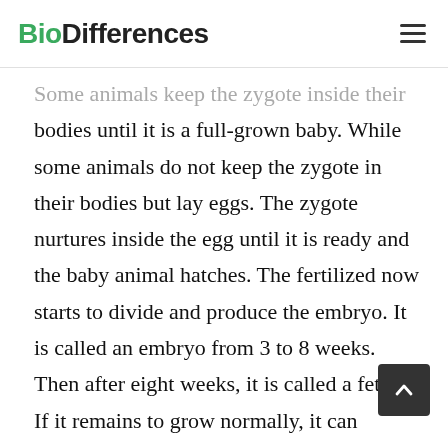BioDifferences
Some animals keep the zygote inside their bodies until it is a full-grown baby. While some animals do not keep the zygote in their bodies but lay eggs. The zygote nurtures inside the egg until it is ready and the baby animal hatches. The fertilized now starts to divide and produce the embryo. It is called an embryo from 3 to 8 weeks. Then after eight weeks, it is called a fetus. If it remains to grow normally, it can eventually become a baby.
Key Differences